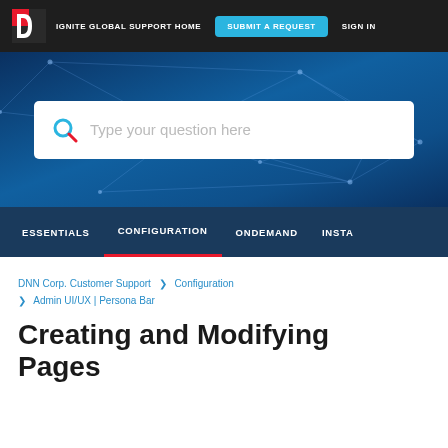IGNITE GLOBAL SUPPORT HOME   SUBMIT A REQUEST   SIGN IN
[Figure (screenshot): Blue hero banner with geometric network lines background and a search box containing placeholder text 'Type your question here' with a search icon]
ESSENTIALS   CONFIGURATION   ONDEMAND   INSTA
DNN Corp. Customer Support > Configuration > Admin UI/UX | Persona Bar
Creating and Modifying Pages